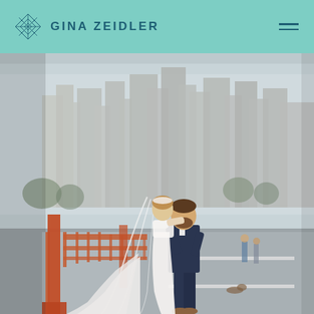GINA ZEIDLER
[Figure (photo): Wedding couple kissing on a bridge with city skyline in background. Bride in white gown with veil, groom in navy suit. Red/orange bridge railing visible on left side. Urban setting.]